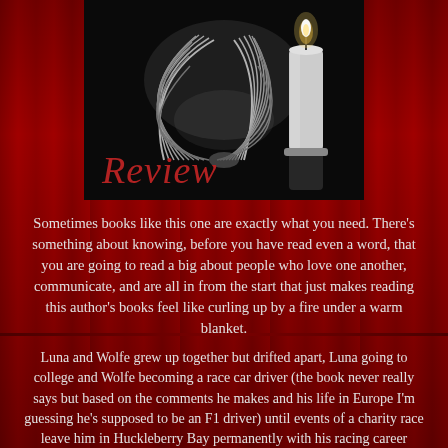[Figure (illustration): Black and white photo of an open book with fanned pages and a lit white candle on a dark/black background. The word 'Review' is overlaid in dark red italic script at the bottom left of the image.]
Sometimes books like this one are exactly what you need. There's something about knowing, before you have read even a word, that you are going to read a big about people who love one another, communicate, and are all in from the start that just makes reading this author's books feel like curling up by a fire under a warm blanket.
Luna and Wolfe grew up together but drifted apart, Luna going to college and Wolfe becoming a race car driver (the book never really says but based on the comments he makes and his life in Europe I'm guessing he's supposed to be an F1 driver) until events of a charity race leave him in Huckleberry Bay permanently with his racing career behind